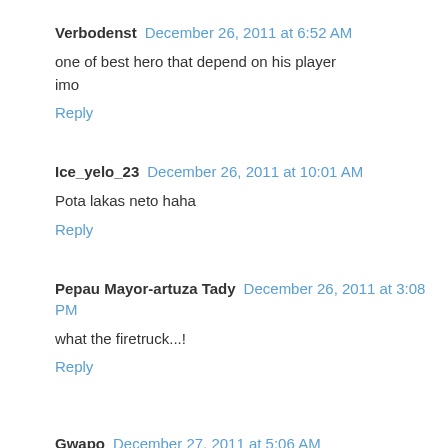Verbodenst  December 26, 2011 at 6:52 AM
one of best hero that depend on his player imo
Reply
Ice_yelo_23  December 26, 2011 at 10:01 AM
Pota lakas neto haha
Reply
Pepau Mayor-artuza Tady  December 26, 2011 at 3:08 PM
what the firetruck...!
Reply
Gwapo  December 27, 2011 at 5:06 AM
:))